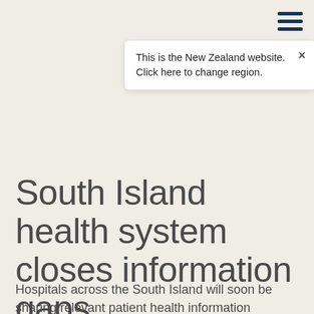[Figure (other): Hamburger menu icon with three horizontal dark blue lines in top right corner]
This is the New Zealand website. Click here to change region.
South Island health system closes information gaps
Hospitals across the South Island will soon be sharing relevant patient health information